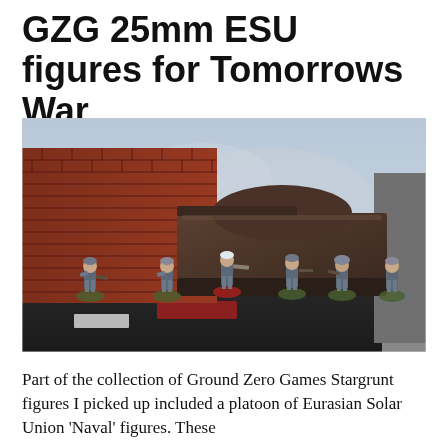GZG 25mm ESU figures for Tomorrows War
[Figure (photo): Photograph of painted 25mm miniature soldiers in grey-blue camouflage uniforms advancing in front of a ruined brick wall and a weathered tank on a urban diorama base with grass tufts and road markings.]
Part of the collection of Ground Zero Games Stargrunt figures I picked up included a platoon of Eurasian Solar Union 'Naval' figures. These